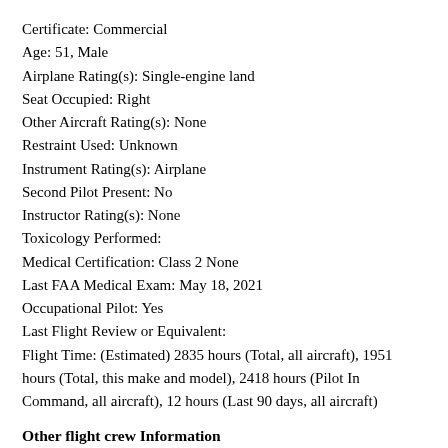Certificate: Commercial
Age: 51, Male
Airplane Rating(s): Single-engine land
Seat Occupied: Right
Other Aircraft Rating(s): None
Restraint Used: Unknown
Instrument Rating(s): Airplane
Second Pilot Present: No
Instructor Rating(s): None
Toxicology Performed:
Medical Certification: Class 2 None
Last FAA Medical Exam: May 18, 2021
Occupational Pilot: Yes
Last Flight Review or Equivalent:
Flight Time: (Estimated) 2835 hours (Total, all aircraft), 1951 hours (Total, this make and model), 2418 hours (Pilot In Command, all aircraft), 12 hours (Last 90 days, all aircraft)
Other flight crew Information
Certificate: Commercial